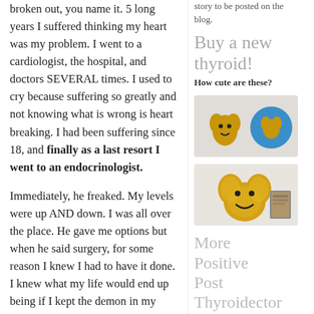broken out, you name it. 5 long years I suffered thinking my heart was my problem. I went to a cardiologist, the hospital, and doctors SEVERAL times. I used to cry because suffering so greatly and not knowing what is wrong is heart breaking. I had been suffering since 18, and finally as a last resort I went to an endocrinologist.
Immediately, he freaked. My levels were up AND down. I was all over the place. He gave me options but when he said surgery, for some reason I knew I had to have it done. I knew what my life would end up being if I kept the demon in my throat. My grandmother has awful Graves. Yes, it is scary, but dying is much scarier.
So I didn't give it much more thought and
story to be posted on the blog.
Buy a new thyroid!
How cute are these?
[Figure (photo): Yellow thyroid-shaped pins/badges and a blue circular badge]
[Figure (photo): Yellow thyroid-shaped plush toy next to a small card/book]
More Positive Post Thyroidector